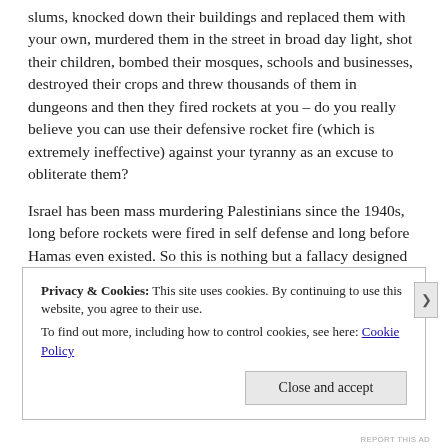slums, knocked down their buildings and replaced them with your own, murdered them in the street in broad day light, shot their children, bombed their mosques, schools and businesses, destroyed their crops and threw thousands of them in dungeons and then they fired rockets at you – do you really believe you can use their defensive rocket fire (which is extremely ineffective) against your tyranny as an excuse to obliterate them?
Israel has been mass murdering Palestinians since the 1940s, long before rockets were fired in self defense and long before Hamas even existed. So this is nothing but a fallacy designed to deflect the reality of the situation and mislead others.
Finally, with the US behind Israel the world is powerless. The
Privacy & Cookies: This site uses cookies. By continuing to use this website, you agree to their use.
To find out more, including how to control cookies, see here: Cookie Policy
Close and accept